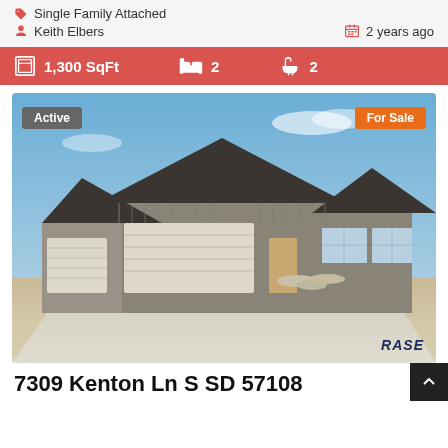Single Family Attached
Keith Elbers
2 years ago
1,300 SqFt   2   2
[Figure (photo): Exterior photo of a single-family attached home with gray siding, dark roof, three-car garage, and concrete driveway. Badges: Active (gray, top-left), For Sale (orange, top-right). RASE watermark bottom-right.]
7309 Kenton Ln S SD 57108